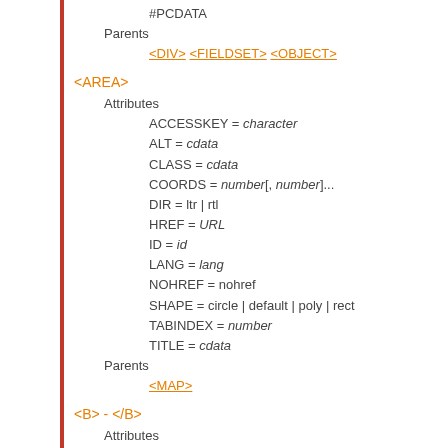#PCDATA
Parents
<DIV> <FIELDSET> <OBJECT>
<AREA>
Attributes
ACCESSKEY = character
ALT = cdata
CLASS = cdata
COORDS = number[, number]...
DIR = ltr | rtl
HREF = URL
ID = id
LANG = lang
NOHREF = nohref
SHAPE = circle | default | poly | rect
TABINDEX = number
TITLE = cdata
Parents
<MAP>
<B> - </B>
Attributes
CLASS = cdata
DIR = ltr | rtl
ID = id
LANG = lang
TITLE = cdata
Contents
<A> <ABBR> <ACRONYM> <B> <BDO> <BR> <BUTTON> <LABEL> <MAP> <OBJECT> <Q> <SAMP> <SELECT> <S
#PCDATA